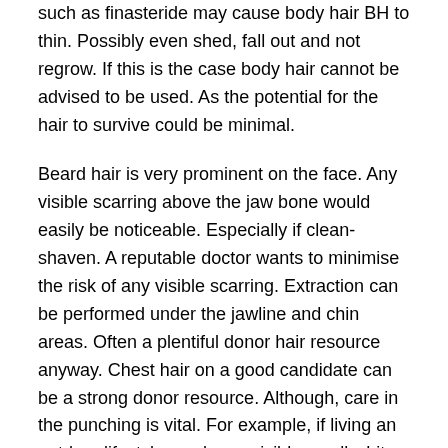such as finasteride may cause body hair BH to thin. Possibly even shed, fall out and not regrow. If this is the case body hair cannot be advised to be used. As the potential for the hair to survive could be minimal.
Beard hair is very prominent on the face. Any visible scarring above the jaw bone would easily be noticeable. Especially if clean-shaven. A reputable doctor wants to minimise the risk of any visible scarring. Extraction can be performed under the jawline and chin areas. Often a plentiful donor hair resource anyway. Chest hair on a good candidate can be a strong donor resource. Although, care in the punching is vital. For example, if living an outdoor lifestyle can leave visible small white dot scarring. If the extraction is spread between the existing hair growth this can easily be hidden. But if all the hair is removed there is no camouflage.
To take the entire area of body hair is often simply not